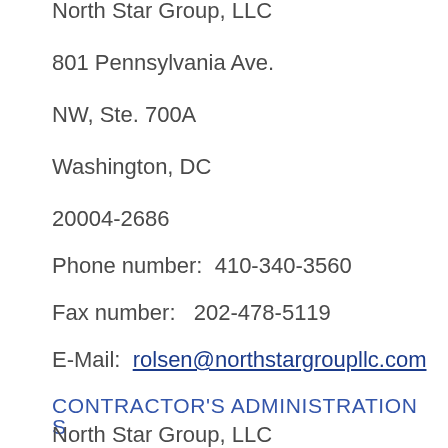North Star Group, LLC
801 Pennsylvania Ave.
NW, Ste. 700A
Washington, DC
20004-2686
Phone number:  410-340-3560
Fax number:   202-478-5119
E-Mail:  rolsen@northstargroupllc.com
CONTRACTOR'S ADMINISTRATION S
North Star Group, LLC
801 Pennsylvania Ave.